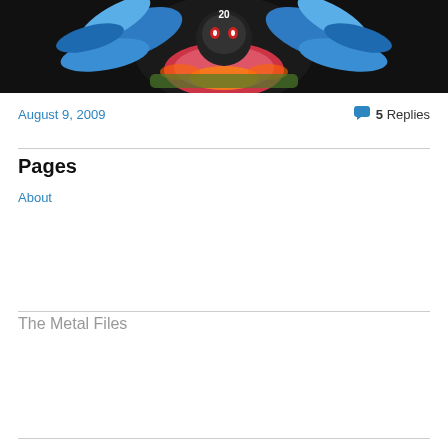[Figure (photo): Colorful tattoo artwork featuring an eagle/bird design with blue feathers and red/orange elements on a black background, with decorative text reading 'from the yen' or similar]
August 9, 2009
5 Replies
Pages
About
The Metal Files